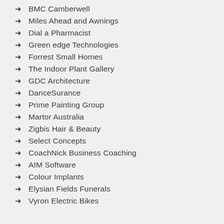BMC Camberwell
Miles Ahead and Awnings
Dial a Pharmacist
Green edge Technologies
Forrest Small Homes
The Indoor Plant Gallery
GDC Architecture
DanceSurance
Prime Painting Group
Martor Australia
Zigbis Hair & Beauty
Select Concepts
CoachNick Business Coaching
AIM Software
Colour Implants
Elysian Fields Funerals
Vyron Electric Bikes